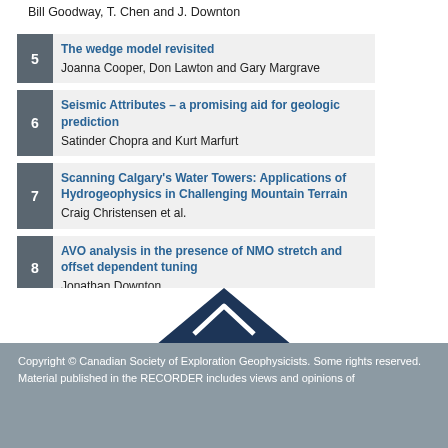Bill Goodway, T. Chen and J. Downton
5 – The wedge model revisited
Joanna Cooper, Don Lawton and Gary Margrave
6 – Seismic Attributes – a promising aid for geologic prediction
Satinder Chopra and Kurt Marfurt
7 – Scanning Calgary's Water Towers: Applications of Hydrogeophysics in Challenging Mountain Terrain
Craig Christensen et al.
8 – AVO analysis in the presence of NMO stretch and offset dependent tuning
Jonathan Downton
[Figure (illustration): Dark navy arrow/chevron pointing upward, centered above footer]
Copyright © Canadian Society of Exploration Geophysicists. Some rights reserved.
Material published in the RECORDER includes views and opinions of the contributors rather than those of the organization.